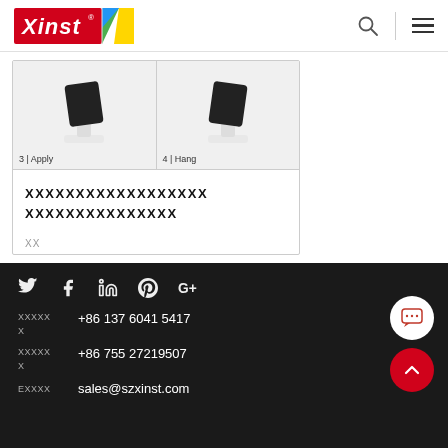[Figure (logo): Xinst logo with red background and diagonal color stripe]
[Figure (screenshot): Product instruction images showing steps 3|Apply and 4|Hang with device on stand]
XXXXXXXXXXXXXXXXXX XXXXXXXXXXXXXXX
XX
XXXXX +86 137 6041 5417 X
XXXXX +86 755 27219507 X
EXXXX sales@szxinst.com